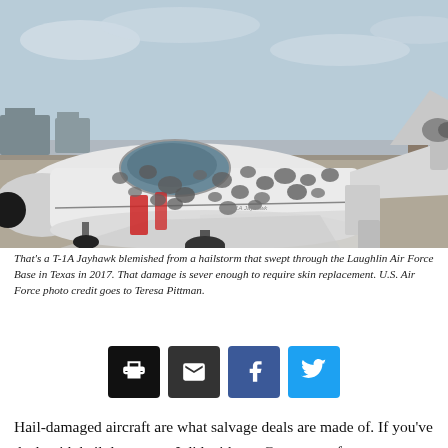[Figure (photo): A white T-1A Jayhawk jet aircraft on a tarmac, covered with numerous dark hail dents and damage marks across its fuselage. The nose has red tape, and landing gear is visible. Background shows other aircraft and mountains.]
That's a T-1A Jayhawk blemished from a hailstorm that swept through the Laughlin Air Force Base in Texas in 2017. That damage is sever enough to require skin replacement. U.S. Air Force photo credit goes to Teresa Pittman.
[Figure (infographic): Four social sharing buttons: print (black), email (dark gray), Facebook (blue), Twitter (cyan/light blue)]
Hail-damaged aircraft are what salvage deals are made of. If you've dealt with hail damage as I did with my Grumman after